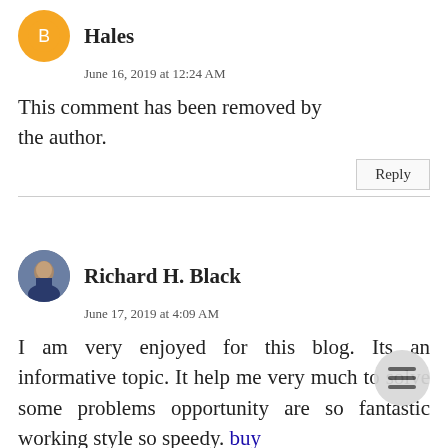Hales
June 16, 2019 at 12:24 AM
This comment has been removed by the author.
Richard H. Black
June 17, 2019 at 4:09 AM
I am very enjoyed for this blog. Its an informative topic. It help me very much to solve some problems opportunity are so fantastic working style so speedy. buy